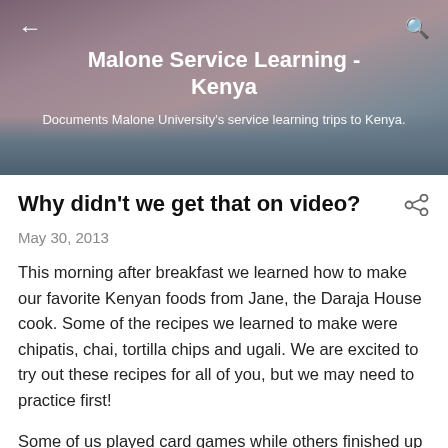Malone Service Learning - Kenya
Documents Malone University's service learning trips to Kenya.
Why didn't we get that on video?
May 30, 2013
This morning after breakfast we learned how to make our favorite Kenyan foods from Jane, the Daraja House cook. Some of the recipes we learned to make were chipatis, chai, tortilla chips and ugali. We are excited to try out these recipes for all of you, but we may need to practice first!
Some of us played card games while others finished up last-minute packing for our journey home tomorrow. After we finished packing up, we had some free time so we decided to